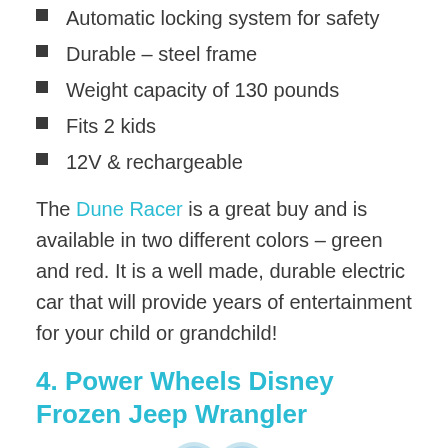Automatic locking system for safety
Durable – steel frame
Weight capacity of 130 pounds
Fits 2 kids
12V & rechargeable
The Dune Racer is a great buy and is available in two different colors – green and red. It is a well made, durable electric car that will provide years of entertainment for your child or grandchild!
4. Power Wheels Disney Frozen Jeep Wrangler
[Figure (illustration): Partial view of two circular logo/icon images at the bottom of the page]